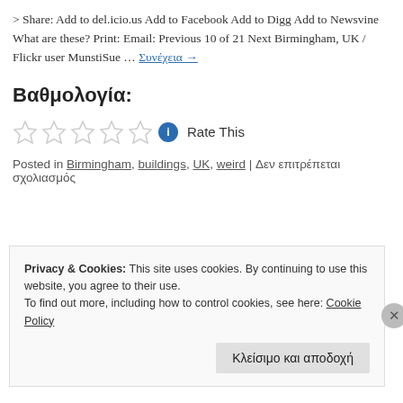> Share: Add to del.icio.us Add to Facebook Add to Digg Add to Newsvine What are these? Print: Email: Previous 10 of 21 Next Birmingham, UK / Flickr user MunstiSue … Συνέχεια →
Βαθμολογία:
[Figure (other): Five empty star rating icons followed by a blue info circle icon and 'Rate This' text]
Posted in Birmingham, buildings, UK, weird | Δεν επιτρέπεται σχολιασμός
Privacy & Cookies: This site uses cookies. By continuing to use this website, you agree to their use. To find out more, including how to control cookies, see here: Cookie Policy
Κλείσιμο και αποδοχή